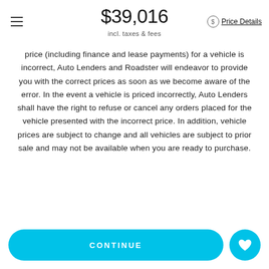$39,016 incl. taxes & fees Price Details
price (including finance and lease payments) for a vehicle is incorrect, Auto Lenders and Roadster will endeavor to provide you with the correct prices as soon as we become aware of the error. In the event a vehicle is priced incorrectly, Auto Lenders shall have the right to refuse or cancel any orders placed for the vehicle presented with the incorrect price. In addition, vehicle prices are subject to change and all vehicles are subject to prior sale and may not be available when you are ready to purchase.
Similar Cars